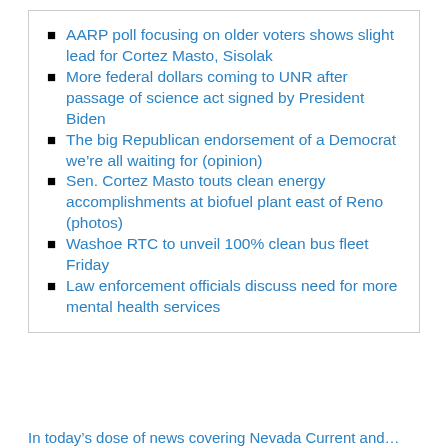AARP poll focusing on older voters shows slight lead for Cortez Masto, Sisolak
More federal dollars coming to UNR after passage of science act signed by President Biden
The big Republican endorsement of a Democrat we're all waiting for (opinion)
Sen. Cortez Masto touts clean energy accomplishments at biofuel plant east of Reno (photos)
Washoe RTC to unveil 100% clean bus fleet Friday
Law enforcement officials discuss need for more mental health services
In today's dose of news covering Nevada Current and…